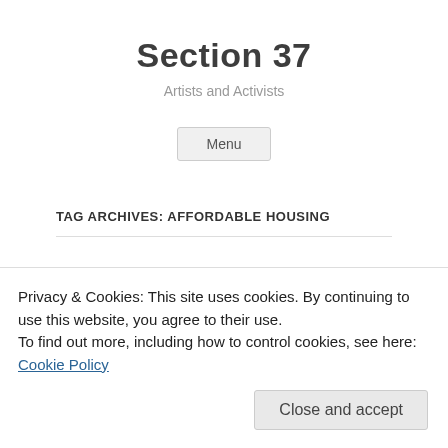Section 37
Artists and Activists
Menu
TAG ARCHIVES: AFFORDABLE HOUSING
Privacy & Cookies: This site uses cookies. By continuing to use this website, you agree to their use.
To find out more, including how to control cookies, see here: Cookie Policy
Close and accept